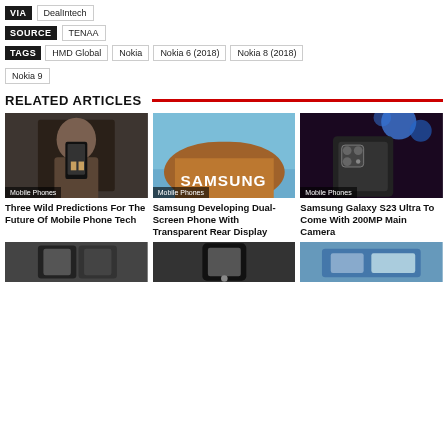VIA DealIntech
SOURCE TENAA
TAGS HMD Global Nokia Nokia 6 (2018) Nokia 8 (2018) Nokia 9
RELATED ARTICLES
[Figure (photo): Hands holding a smartphone]
Mobile Phones
Three Wild Predictions For The Future Of Mobile Phone Tech
[Figure (photo): Samsung building sign against blue sky]
Mobile Phones
Samsung Developing Dual-Screen Phone With Transparent Rear Display
[Figure (photo): Samsung Galaxy S23 Ultra phone camera closeup]
Mobile Phones
Samsung Galaxy S23 Ultra To Come With 200MP Main Camera
[Figure (photo): Folding phone]
[Figure (photo): Phone detail]
[Figure (photo): Phone lifestyle]